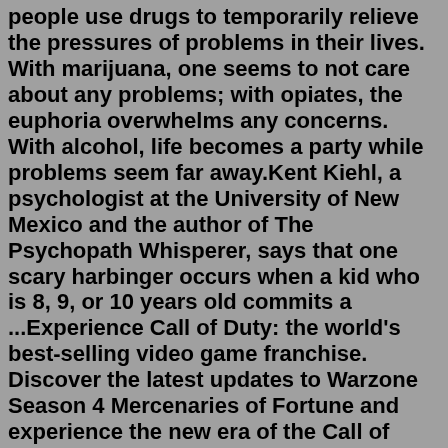people use drugs to temporarily relieve the pressures of problems in their lives. With marijuana, one seems to not care about any problems; with opiates, the euphoria overwhelms any concerns. With alcohol, life becomes a party while problems seem far away.Kent Kiehl, a psychologist at the University of New Mexico and the author of The Psychopath Whisperer, says that one scary harbinger occurs when a kid who is 8, 9, or 10 years old commits a ...Experience Call of Duty: the world's best-selling video game franchise. Discover the latest updates to Warzone Season 4 Mercenaries of Fortune and experience the new era of the Call of Duty franchise this fall with Modern Warfare 2.2. Take online surveys. Taking surveys in your spare time can be a great way to earn some extra dough. While there are tons of online survey sites, one of the best is Survey Junkie. With surveys, you can start making money as soon as today. Here's the cool thing about Survey Junkie, you can take multiple surveys.This will encourage you to be a more engaging and energetic person. 4. Stop wasting time